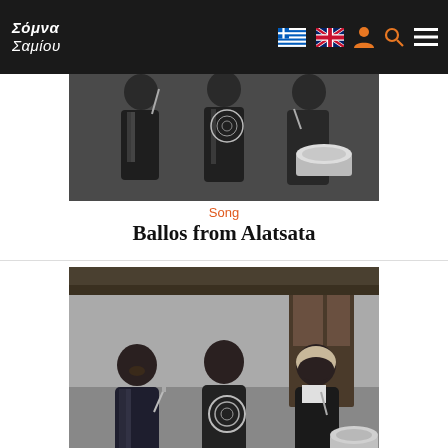Σόμνα Σαμίου — navigation bar
[Figure (photo): Black and white photograph of three women in traditional Greek dress holding spinning tools and a large pot]
Song
Ballos from Alatsata
[Figure (photo): Black and white photograph of three women smiling in traditional dress, standing outdoors, holding spinning tools and a pot]
Song
Dimitroula
[Figure (photo): Partial view of a colorful illustrated or painted image at bottom of page]